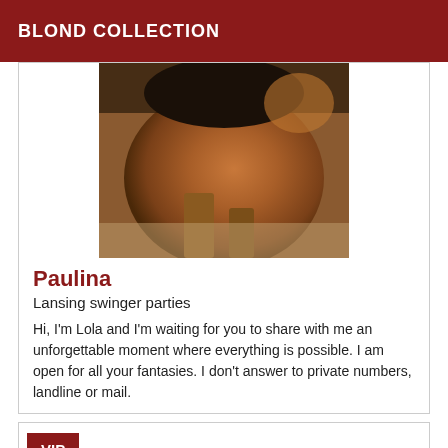BLOND COLLECTION
[Figure (photo): Close-up photo of a person]
Paulina
Lansing swinger parties
Hi, I'm Lola and I'm waiting for you to share with me an unforgettable moment where everything is possible. I am open for all your fantasies. I don't answer to private numbers, landline or mail.
VIP